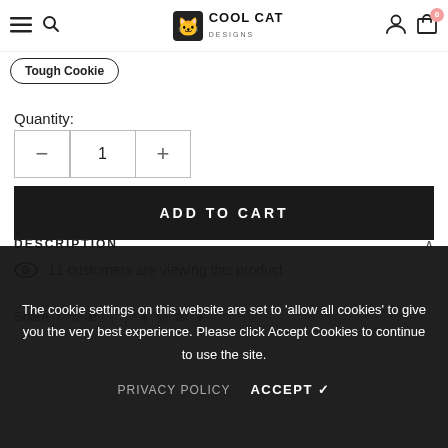Cool Cat Designs navigation bar with hamburger menu, search, logo, user account and cart (0)
Tough Cookie
Quantity:
1
ADD TO CART
11 customers are viewing this product
Share
The cookie settings on this website are set to 'allow all cookies' to give you the very best experience. Please click Accept Cookies to continue to use the site.
DESCRIPTION
PRIVACY POLICY
ACCEPT ✓